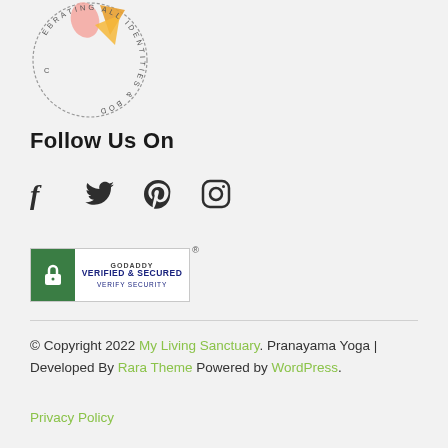[Figure (logo): Circular logo with text 'CELEBRATING ALL IDENTITIES & BOD...' around the edge, with colorful abstract shapes in the center (pink, orange, gold)]
Follow Us On
[Figure (illustration): Social media icons: Facebook, Twitter, Pinterest, Instagram]
[Figure (illustration): GoDaddy Verified & Secured badge with lock icon and VERIFY SECURITY text]
© Copyright 2022 My Living Sanctuary. Pranayama Yoga | Developed By Rara Theme Powered by WordPress. Privacy Policy